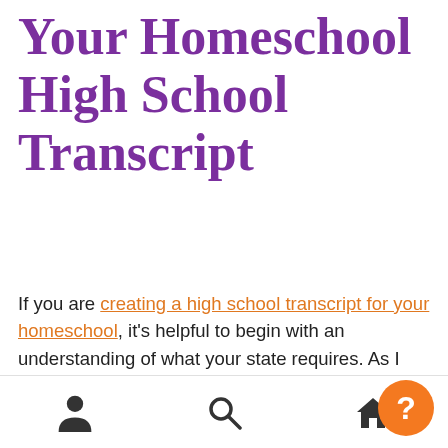Your Homeschool High School Transcript
If you are creating a high school transcript for your homeschool, it's helpful to begin with an understanding of what your state requires. As I mentioned, most states, as part of their public school standards, include fine arts as a necessity for graduation.
While homeschoolers may or may not have to follow state standards (again, depends on your state), adding fine arts to your high school can, without a doubt, help create a
Navigation bar with person, search, and home icons